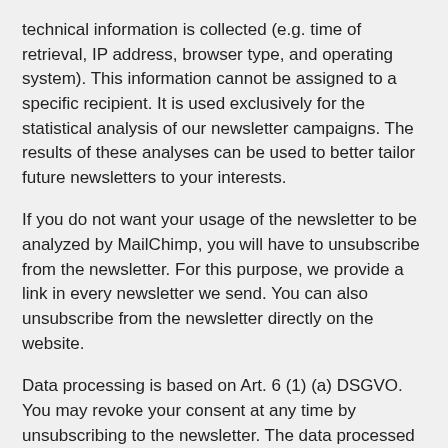technical information is collected (e.g. time of retrieval, IP address, browser type, and operating system). This information cannot be assigned to a specific recipient. It is used exclusively for the statistical analysis of our newsletter campaigns. The results of these analyses can be used to better tailor future newsletters to your interests.
If you do not want your usage of the newsletter to be analyzed by MailChimp, you will have to unsubscribe from the newsletter. For this purpose, we provide a link in every newsletter we send. You can also unsubscribe from the newsletter directly on the website.
Data processing is based on Art. 6 (1) (a) DSGVO. You may revoke your consent at any time by unsubscribing to the newsletter. The data processed before we receive your request may still be legally processed.
The data provided when registering for the newsletter will be used to distribute the newsletter until you cancel your subscription when said data will be deleted from our servers and those of MailChimp. Data we have stored for other purposes (e.g. email addresses for the members area) remains unaffected.